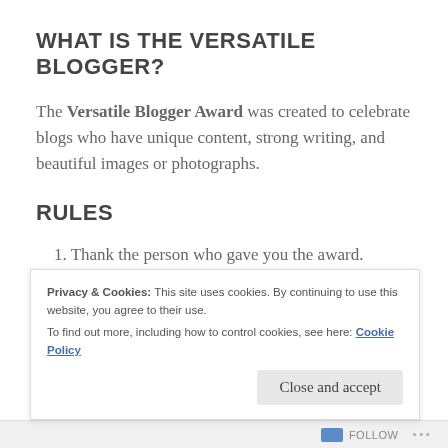WHAT IS THE VERSATILE BLOGGER?
The Versatile Blogger Award was created to celebrate blogs who have unique content, strong writing, and beautiful images or photographs.
RULES
1. Thank the person who gave you the award.
2. Include a link to their blog.
3. Select 7 blogs/bloggers that you’ve recently
Privacy & Cookies: This site uses cookies. By continuing to use this website, you agree to their use.
To find out more, including how to control cookies, see here: Cookie Policy
Follow